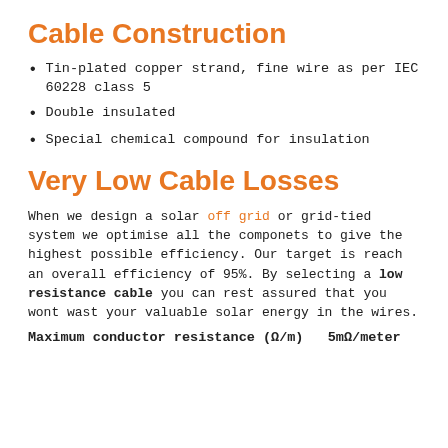Cable Construction
Tin-plated copper strand, fine wire as per IEC 60228 class 5
Double insulated
Special chemical compound for insulation
Very Low Cable Losses
When we design a solar off grid or grid-tied system we optimise all the componets to give the highest possible efficiency. Our target is reach an overall efficiency of 95%. By selecting a low resistance cable you can rest assured that you wont wast your valuable solar energy in the wires.
Maximum conductor resistance (Ω/m)  5mΩ/meter